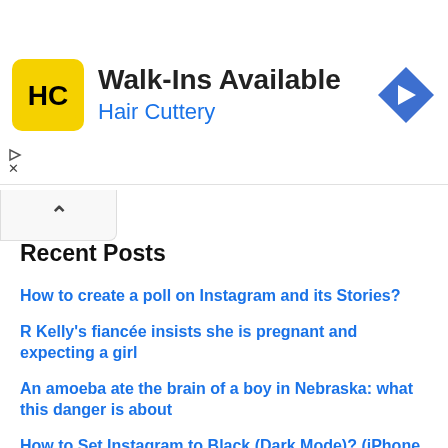[Figure (other): Hair Cuttery advertisement banner. Yellow square logo with HC letters, text 'Walk-Ins Available' and 'Hair Cuttery' in blue, blue diamond arrow icon on right.]
Recent Posts
How to create a poll on Instagram and its Stories?
R Kelly's fiancée insists she is pregnant and expecting a girl
An amoeba ate the brain of a boy in Nebraska: what this danger is about
How to Set Instagram to Black (Dark Mode)? (iPhone and Android)
Ethereum 2.0 code is ready for the merge
Pellegrini does not remember Edgar